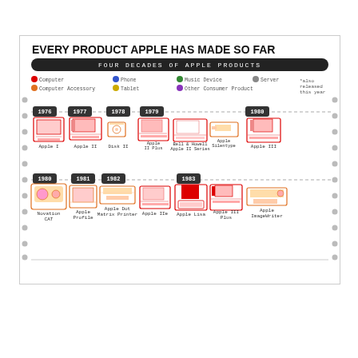[Figure (infographic): Infographic titled 'Every Product Apple Has Made So Far' showing a timeline of Apple products from 1976 to 1983 with illustrations of each product. Two rows of timeline items. Row 1: 1976 Apple I, 1977 Apple II, 1978 Disk II, 1979 Apple II Plus / Bell & Howell Apple II Series / Apple Silentype, 1980 Apple III. Row 2: 1980 Novation CAT, 1981 Apple Profile, 1982 Apple Dot Matrix Printer, 1982 Apple IIe, 1983 Apple Lisa / Apple III Plus / Apple ImageWriter. Legend shows color coding: Computer (red), Computer Accessory (orange), Phone (blue), Tablet (yellow), Music Device (green), Other Consumer Product (purple), Server (gray).]